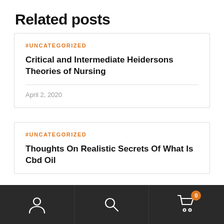Related posts
#UNCATEGORIZED
Critical and Intermediate Heidersons Theories of Nursing
April 2, 2020
#UNCATEGORIZED
Thoughts On Realistic Secrets Of What Is Cbd Oil
[Figure (screenshot): Bottom navigation bar with user icon, search icon, and shopping cart icon with badge showing 0]